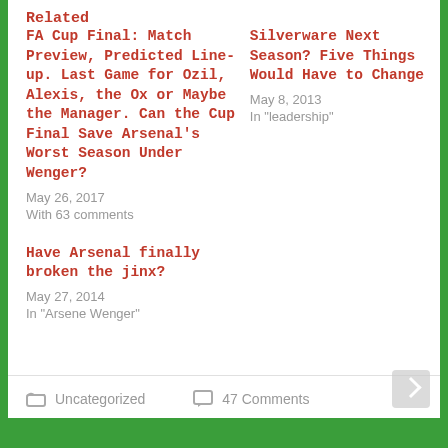Related
FA Cup Final: Match Preview, Predicted Line-up. Last Game for Ozil, Alexis, the Ox or Maybe the Manager. Can the Cup Final Save Arsenal's Worst Season Under Wenger?
May 26, 2017
With 63 comments
Silverware Next Season? Five Things Would Have to Change
May 8, 2013
In "leadership"
Have Arsenal finally broken the jinx?
May 27, 2014
In "Arsene Wenger"
Uncategorized   47 Comments